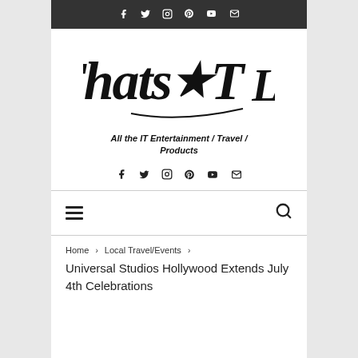Social icons: Facebook, Twitter, Instagram, Pinterest, YouTube, Email
[Figure (logo): ThatsitLA cursive logo in black]
All the IT Entertainment / Travel / Products
Social icons: Facebook, Twitter, Instagram, Pinterest, YouTube, Email
Hamburger menu and search icon navigation bar
Home > Local Travel/Events > Universal Studios Hollywood Extends July 4th Celebrations